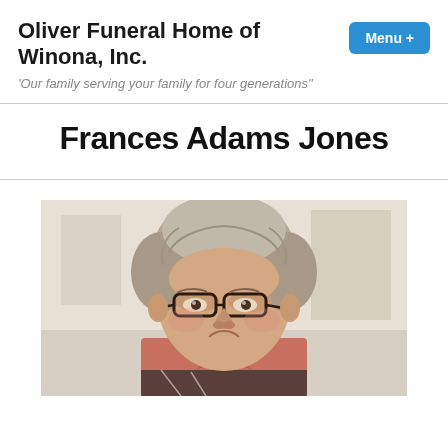Oliver Funeral Home of Winona, Inc.
'Our family serving your family for four generations"
Frances Adams Jones
[Figure (photo): Portrait photo of Frances Adams Jones, an elderly woman with short gray hair, wearing dark-rimmed glasses and a red top, smiling slightly.]